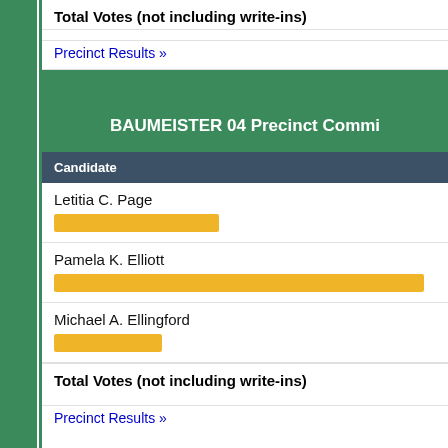Total Votes (not including write-ins)
Precinct Results »
BAUMEISTER 04 Precinct Commi
| Candidate |
| --- |
| Letitia C. Page |
| Pamela K. Elliott |
| Michael A. Ellingford |
Total Votes (not including write-ins)
Precinct Results »